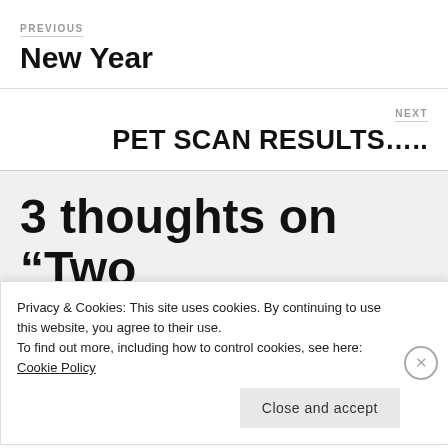PREVIOUS
New Year
NEXT
PET SCAN RESULTS…..
3 thoughts on “Two
Privacy & Cookies: This site uses cookies. By continuing to use this website, you agree to their use.
To find out more, including how to control cookies, see here: Cookie Policy
Close and accept